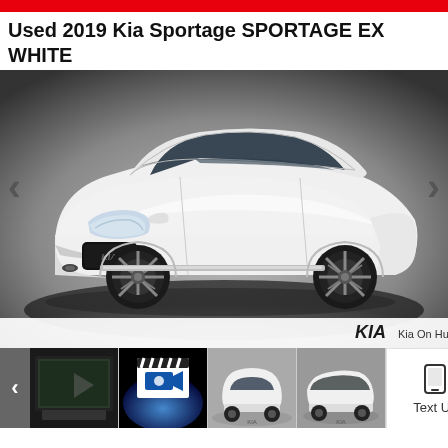Used 2019 Kia Sportage SPORTAGE EX WHITE
[Figure (photo): White 2019 Kia Sportage EX SUV photographed on a dark background, three-quarter front view facing left, with Kia logo and 'Kia On Hunt Club' dealer badge at bottom right. Navigation arrows on left and right sides.]
[Figure (photo): Thumbnail: interior/rear camera view screenshot]
[Figure (photo): Thumbnail: video play icon on blue background with clapperboard]
[Figure (photo): Thumbnail: white Kia Sportage front three-quarter view]
[Figure (photo): Thumbnail: white Kia Sportage rear three-quarter view]